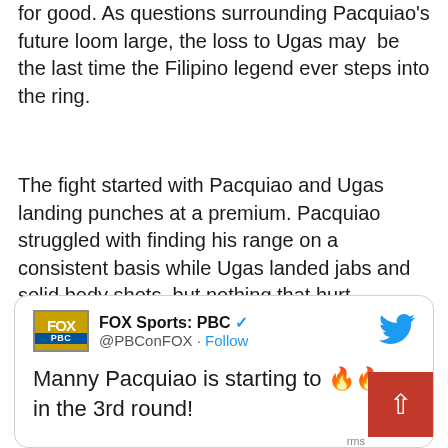for good. As questions surrounding Pacquiao's future loom large, the loss to Ugas may be the last time the Filipino legend ever steps into the ring.
The fight started with Pacquiao and Ugas landing punches at a premium. Pacquiao struggled with finding his range on a consistent basis while Ugas landed jabs and solid body shots, but nothing that hurt Pacquiao. Neither fighter ran away with the fight, but Ugas was more efficient with his jab and counterpunching.
[Figure (screenshot): Embedded tweet from FOX Sports: PBC (@PBConFOX) with verified badge and Twitter bird icon. Tweet text: 'Manny Pacquiao is starting to 🔥🔥 up in the 3rd round!' followed by 'Buy #PacquiaoUgas PPV:'. Also shows a red back-to-top button in lower right.]